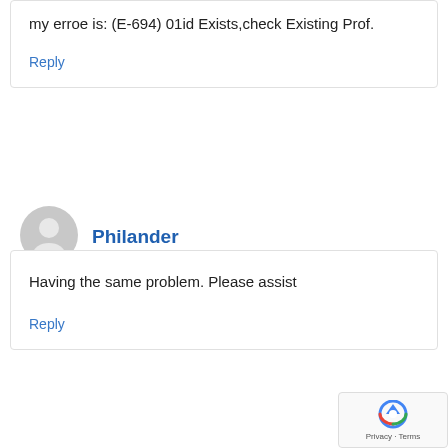my erroe is: (E-694) 01id Exists,check Existing Prof.
Reply
[Figure (illustration): Generic user avatar icon for Philander]
Philander
Having the same problem. Please assist
Reply
[Figure (logo): reCAPTCHA badge with Privacy and Terms links]